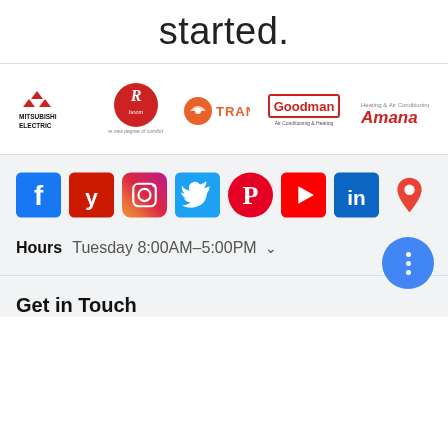started.
[Figure (logo): Row of HVAC brand logos: Mitsubishi Electric, Rheem, Trane, Goodman Air Conditioning & Heating, Amana]
[Figure (infographic): Row of social media icons: Facebook, Yelp, Instagram, Twitter, Pinterest, YouTube, LinkedIn, Google Maps pin]
Hours  Tuesday 8:00AM–5:00PM
Get in Touch